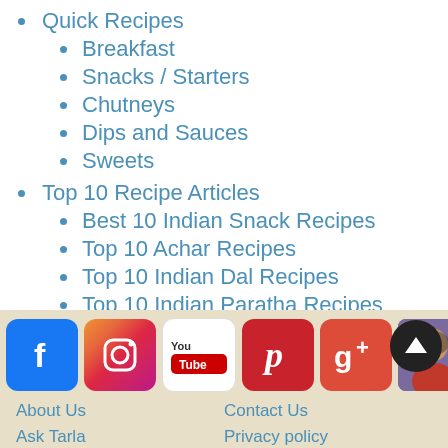Quick Recipes
Breakfast
Snacks / Starters
Chutneys
Dips and Sauces
Sweets
Top 10 Recipe Articles
Best 10 Indian Snack Recipes
Top 10 Achar Recipes
Top 10 Indian Dal Recipes
Top 10 Indian Paratha Recipes
Top 10 Indian Rotis
[Figure (infographic): Social media icons: Facebook, Instagram, YouTube, Pinterest, Google+, Tarla Dalal avatar, and a scroll-up button]
About Us | Contact Us | Ask Tarla | Privacy policy | Advertise with Us | Full Site